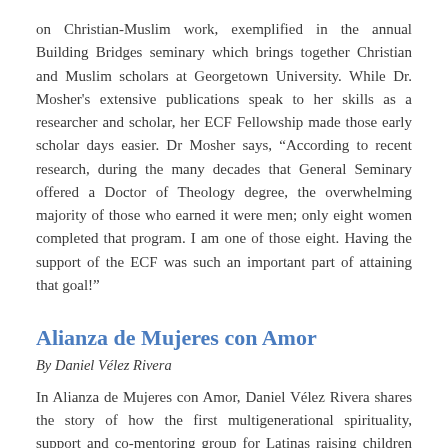on Christian-Muslim work, exemplified in the annual Building Bridges seminary which brings together Christian and Muslim scholars at Georgetown University. While Dr. Mosher's extensive publications speak to her skills as a researcher and scholar, her ECF Fellowship made those early scholar days easier. Dr Mosher says, “According to recent research, during the many decades that General Seminary offered a Doctor of Theology degree, the overwhelming majority of those who earned it were men; only eight women completed that program. I am one of those eight. Having the support of the ECF was such an important part of attaining that goal!”
Alianza de Mujeres con Amor
By Daniel Vélez Rivera
In Alianza de Mujeres con Amor, Daniel Vélez Rivera shares the story of how the first multigenerational spirituality, support and co-mentoring group for Latinas raising children was born in Salem, Massachusetts. It has